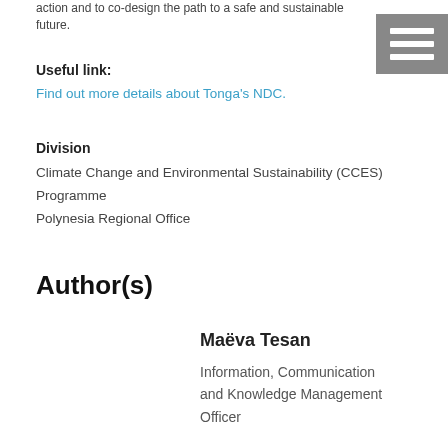action and to co-design the path to a safe and sustainable future.
Useful link:
Find out more details about Tonga's NDC.
Division
Climate Change and Environmental Sustainability (CCES) Programme
Polynesia Regional Office
Author(s)
Maëva Tesan
Information, Communication and Knowledge Management Officer